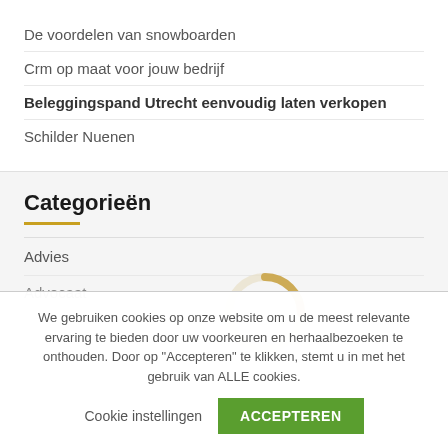De voordelen van snowboarden
Crm op maat voor jouw bedrijf
Beleggingspand Utrecht eenvoudig laten verkopen
Schilder Nuenen
Categorieën
Advies
Advocaat
We gebruiken cookies op onze website om u de meest relevante ervaring te bieden door uw voorkeuren en herhaalbezoeken te onthouden. Door op "Accepteren" te klikken, stemt u in met het gebruik van ALLE cookies.
Cookie instellingen
ACCEPTEREN